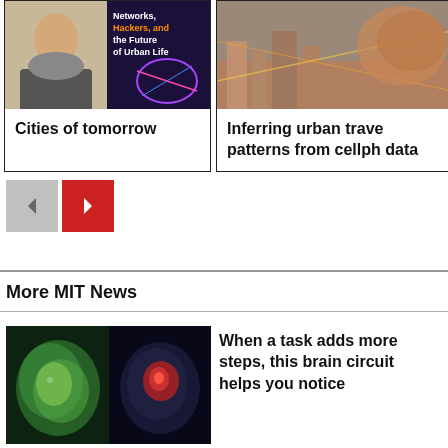[Figure (photo): Card showing a person and a book cover for 'Cities of tomorrow']
Cities of tomorrow
[Figure (photo): Card with city/aerial image for 'Inferring urban travel patterns from cellphone data']
Inferring urban travel patterns from cellph data
[Figure (other): Navigation buttons: left arrow (gray) and right arrow (red)]
More MIT News
[Figure (photo): Two brain/biological images side by side]
When a task adds more steps, this brain circuit helps you notice